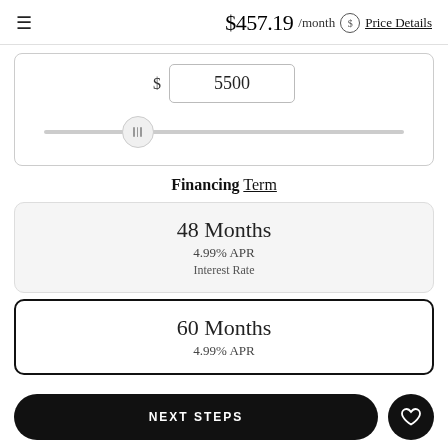$457.19 /month Price Details
$ 5500
[Figure (other): Horizontal slider with thumb at approximately 26% position showing a down payment or loan amount selector]
Financing Term
48 Months
4.99% APR
Interest Rate
60 Months
4.99% APR
NEXT STEPS